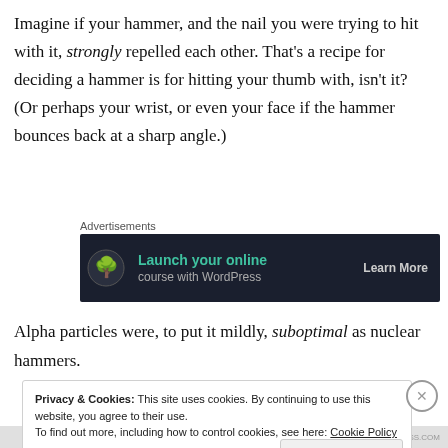Imagine if your hammer, and the nail you were trying to hit with it, strongly repelled each other. That's a recipe for deciding a hammer is for hitting your thumb with, isn't it? (Or perhaps your wrist, or even your face if the hammer bounces back at a sharp angle.)
[Figure (other): Advertisement banner for WordPress with dark background showing 'Launch your online...' text in teal and 'Learn More' button]
Alpha particles were, to put it mildly, suboptimal as nuclear hammers.
Privacy & Cookies: This site uses cookies. By continuing to use this website, you agree to their use.
To find out more, including how to control cookies, see here: Cookie Policy